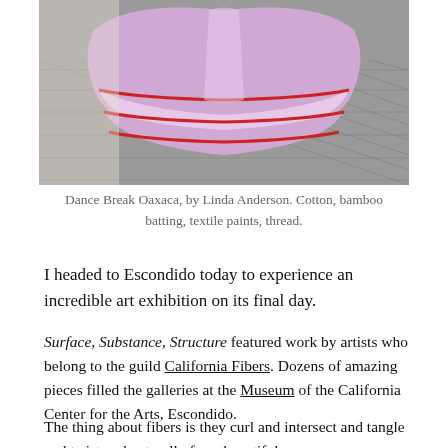[Figure (photo): Painting of a dancer in a pink ruffled dress with red trim on a tiled floor — Dance Break Oaxaca by Linda Anderson]
Dance Break Oaxaca, by Linda Anderson. Cotton, bamboo batting, textile paints, thread.
I headed to Escondido today to experience an incredible art exhibition on its final day.
Surface, Substance, Structure featured work by artists who belong to the guild California Fibers. Dozens of amazing pieces filled the galleries at the Museum of the California Center for the Arts, Escondido.
The thing about fibers is they curl and intersect and tangle and twist and naturally form beautiful